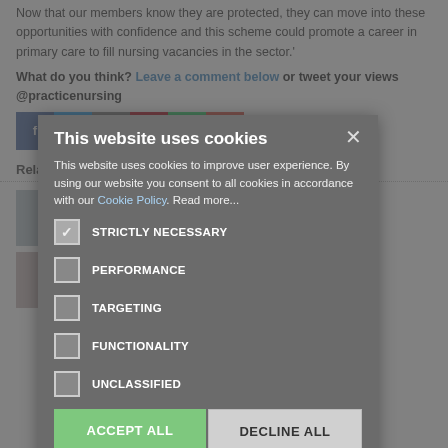Now that our members know they are protected, they can move into these opportunities with confidence and this scheme could promote a career in primary care to fill nursing vacancies in the sector.'
What do you think? Leave a comment below or tweet your views @practicenursing
[Figure (other): Social media share buttons: Facebook, Twitter, Email, Pinterest, WhatsApp, Google Plus with share count of 1]
Related News
[Figure (photo): Small thumbnail image for related article about Practice Nursing launching new website]
Practice Nursing launches new website
[Figure (photo): Small thumbnail image for related article about improving access to General Practice]
Improving access to General Practice
[Figure (screenshot): Cookie consent modal overlay with title 'This website uses cookies', description text, checkboxes for STRICTLY NECESSARY (checked), PERFORMANCE, TARGETING, FUNCTIONALITY, UNCLASSIFIED, and buttons ACCEPT ALL and DECLINE ALL]